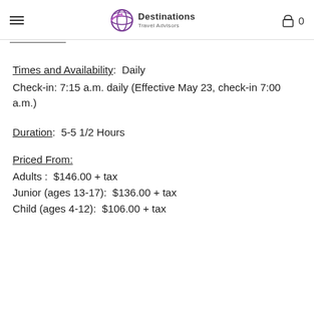Destinations Travel Advisors
Times and Availability:  Daily
Check-in: 7:15 a.m. daily (Effective May 23, check-in 7:00 a.m.)
Duration:  5-5 1/2 Hours
Priced From:
Adults :  $146.00 + tax
Junior (ages 13-17):  $136.00 + tax
Child (ages 4-12):  $106.00 + tax